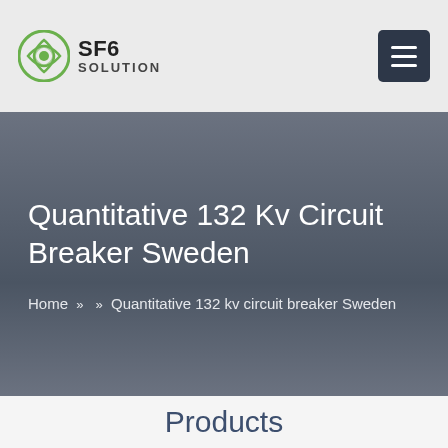SF6 SOLUTION
Quantitative 132 Kv Circuit Breaker Sweden
Home » » Quantitative 132 kv circuit breaker Sweden
Products